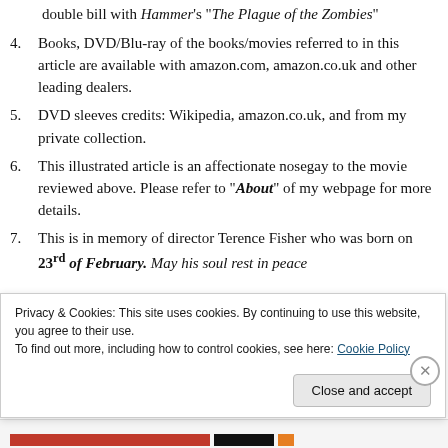double bill with Hammer's "The Plague of the Zombies"
4. Books, DVD/Blu-ray of the books/movies referred to in this article are available with amazon.com, amazon.co.uk and other leading dealers.
5. DVD sleeves credits: Wikipedia, amazon.co.uk, and from my private collection.
6. This illustrated article is an affectionate nosegay to the movie reviewed above. Please refer to "About" of my webpage for more details.
7. This is in memory of director Terence Fisher who was born on 23rd of February. May his soul rest in peace
Privacy & Cookies: This site uses cookies. By continuing to use this website, you agree to their use.
To find out more, including how to control cookies, see here: Cookie Policy